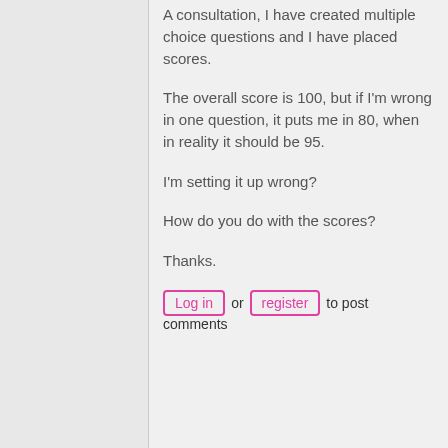A consultation, I have created multiple choice questions and I have placed scores.
The overall score is 100, but if I'm wrong in one question, it puts me in 80, when in reality it should be 95.
I'm setting it up wrong?
How do you do with the scores?
Thanks.
Log in or register to post comments